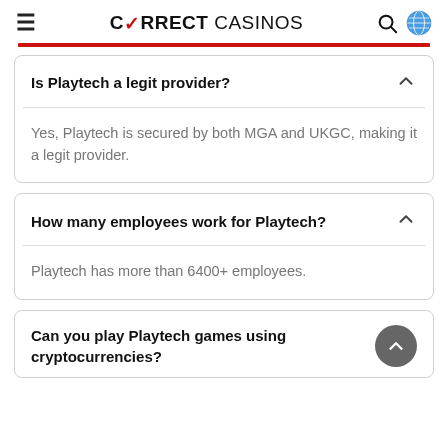CORRECT CASINOS
Is Playtech a legit provider?
Yes, Playtech is secured by both MGA and UKGC, making it a legit provider.
How many employees work for Playtech?
Playtech has more than 6400+ employees.
Can you play Playtech games using cryptocurrencies?